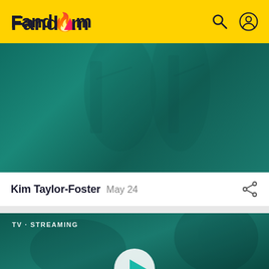Fandom
[Figure (photo): Dark teal-toned image, partially visible, appears to show figures or characters in dark clothing with equipment/straps visible]
Kim Taylor-Foster  May 24
[Figure (photo): Dark teal-toned streaming video thumbnail showing two people, with a play button overlaid. Labels: TV · STREAMING]